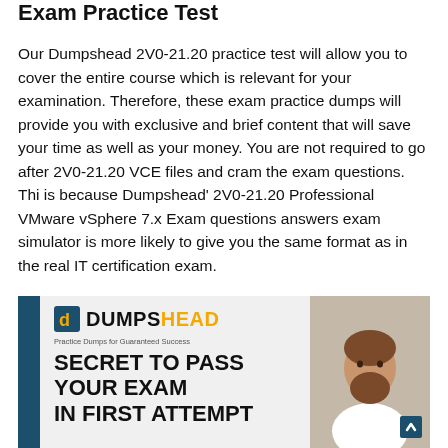Exam Practice Test
Our Dumpshead 2V0-21.20 practice test will allow you to cover the entire course which is relevant for your examination. Therefore, these exam practice dumps will provide you with exclusive and brief content that will save your time as well as your money. You are not required to go after 2V0-21.20 VCE files and cram the exam questions. Thi is because Dumpshead' 2V0-21.20 Professional VMware vSphere 7.x Exam questions answers exam simulator is more likely to give you the same format as in the real IT certification exam.
[Figure (infographic): DumpsHead banner advertisement with dark sidebar, logo, tagline 'Practice Dumps for Guaranteed Success', slogan 'SECRET TO PASS YOUR EXAM IN FIRST ATTEMPT', and photo of a man.]